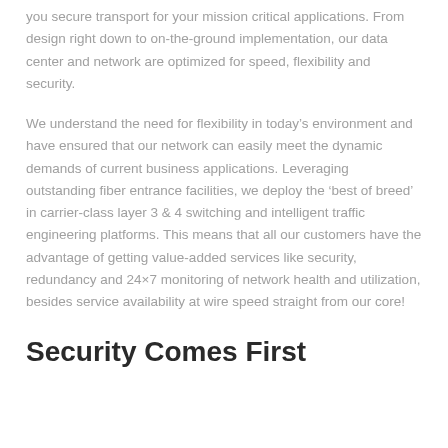you secure transport for your mission critical applications. From design right down to on-the-ground implementation, our data center and network are optimized for speed, flexibility and security.
We understand the need for flexibility in today’s environment and have ensured that our network can easily meet the dynamic demands of current business applications. Leveraging outstanding fiber entrance facilities, we deploy the ‘best of breed’ in carrier-class layer 3 & 4 switching and intelligent traffic engineering platforms. This means that all our customers have the advantage of getting value-added services like security, redundancy and 24×7 monitoring of network health and utilization, besides service availability at wire speed straight from our core!
Security Comes First